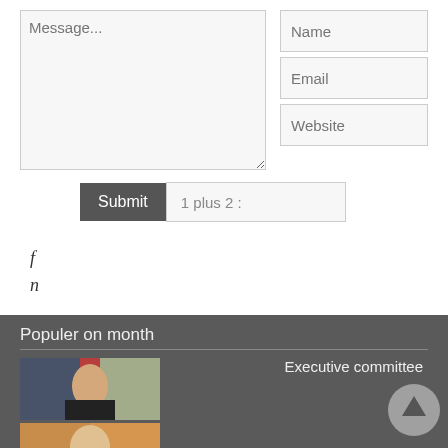[Figure (screenshot): Web form with textarea labeled Message..., input fields for Name, Email, Website, a Submit button, and a captcha field showing '1 plus 2 :']
f
n
Populer on month
[Figure (photo): Photo of a man in a suit at a podium with flags and banners in background]
[Figure (photo): Partial photo of another person]
Executive committee